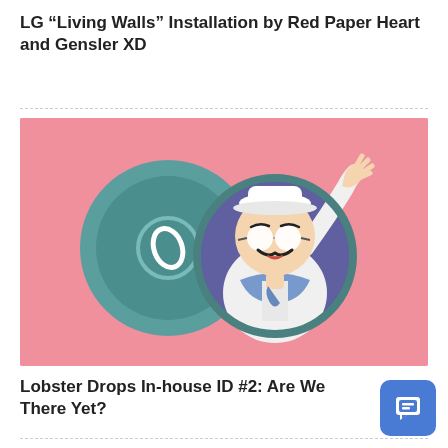LG “Living Walls” Installation by Red Paper Heart and Gensler XD
[Figure (illustration): Animated illustration on a pink background showing a cartoon character (a man in a white outfit and blue scarf with round glasses and a mustache) poking his upper body out of a circular porthole or hatch, waving one hand upward. A large teal/grey circular disc is open to the left side.]
Lobster Drops In-house ID #2: Are We There Yet?